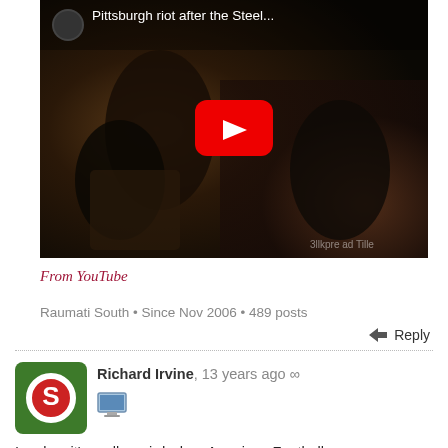[Figure (screenshot): YouTube video thumbnail showing Pittsburgh riot after the Steelers game, dark nighttime crowd scene with a YouTube play button overlay]
From YouTube
Raumati South • Since Nov 2006 • 489 posts
↵ Reply
Richard Irvine, 13 years ago ∞
I reckon it's really weird when American Football